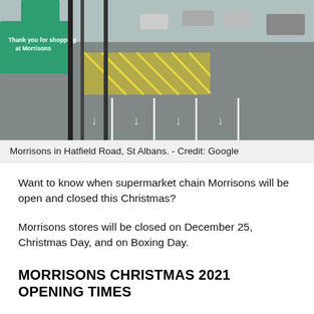[Figure (photo): Aerial/overhead view of Morrisons supermarket car park in Hatfield Road, St Albans. A green Morrisons sign is visible on the left side reading 'Thank you for shopping at Morrisons'. The car park has marked spaces and yellow hatched areas.]
Morrisons in Hatfield Road, St Albans. - Credit: Google
Want to know when supermarket chain Morrisons will be open and closed this Christmas?
Morrisons stores will be closed on December 25, Christmas Day, and on Boxing Day.
MORRISONS CHRISTMAS 2021 OPENING TIMES
Here are the festive shopping times for the Morrisons